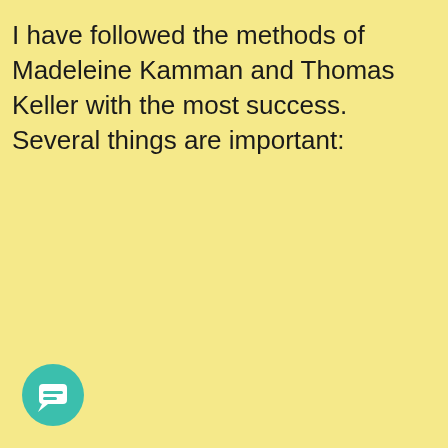I have followed the methods of Madeleine Kamman and Thomas Keller with the most success. Several things are important:
[Figure (illustration): Teal/green circular chat bubble icon with a white speech bubble symbol inside, positioned in the bottom-left corner]